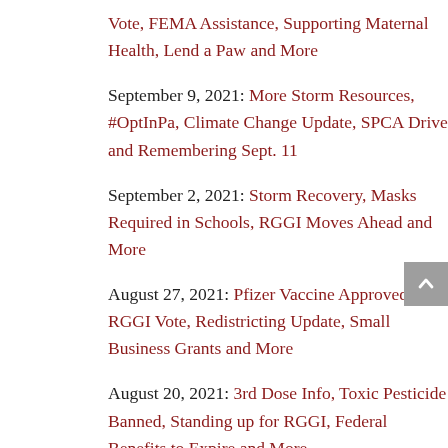Vote, FEMA Assistance, Supporting Maternal Health, Lend a Paw and More
September 9, 2021: More Storm Resources, #OptInPa, Climate Change Update, SPCA Drive and Remembering Sept. 11
September 2, 2021: Storm Recovery, Masks Required in Schools, RGGI Moves Ahead and More
August 27, 2021: Pfizer Vaccine Approved, RGGI Vote, Redistricting Update, Small Business Grants and More
August 20, 2021: 3rd Dose Info, Toxic Pesticide Banned, Standing up for RGGI, Federal Benefits to Expire and More